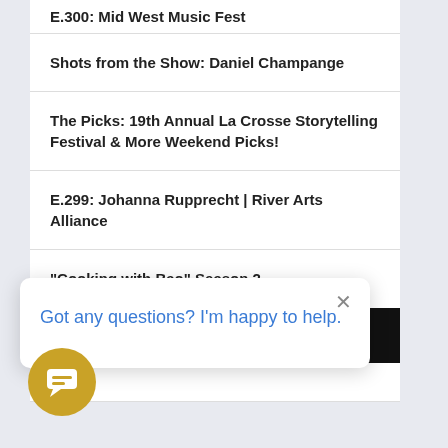E.300: Mid West Music Fest
Shots from the Show: Daniel Champange
The Picks: 19th Annual La Crosse Storytelling Festival & More Weekend Picks!
E.299: Johanna Rupprecht | River Arts Alliance
“Cooking with Bao” Season 2
s
osse
[Figure (screenshot): Chat popup overlay with close button and text: Got any questions? I’m happy to help.]
[Figure (screenshot): Gold circular chat button with speech bubble icon]
PARTNERS